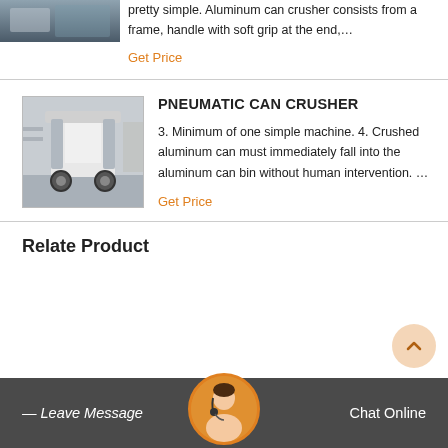[Figure (photo): Partial top image of a can crusher machine, cropped at top]
pretty simple. Aluminum can crusher consists from a frame, handle with soft grip at the end,…
Get Price
[Figure (photo): Industrial pneumatic can crusher machine in a warehouse setting]
PNEUMATIC CAN CRUSHER
3. Minimum of one simple machine. 4. Crushed aluminum can must immediately fall into the aluminum can bin without human intervention. …
Get Price
Relate Product
Leave Message
Chat Online